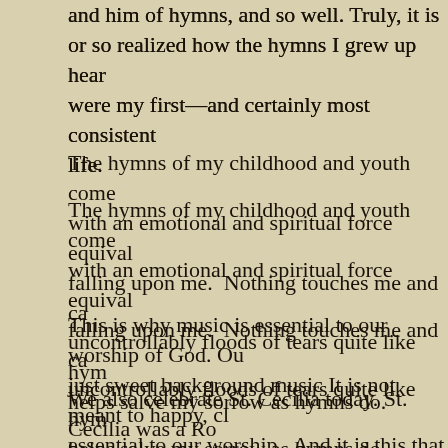and him of hymns, and so well. Truly, it is or so realized how the hymns I grew up hearing were my first—and certainly most consistent life.
The hymns of my childhood and youth come with an emotional and spiritual force equivalent to falling upon me. Nothing touches me and causes uncontrollably floods of tears quite like hymns helps salve my sorrow as hymns do.
This is why music is essential to our worship of God. Our just sweet background music It is not meant to happy, cl essential to our worship. And it is this that we celebrate
We also celebrate St. Cecilia today. St. Cecilia was a Roman converted to Christianity. As a Christian, she decided to herself entirely to Christ. However, the story goes, she w